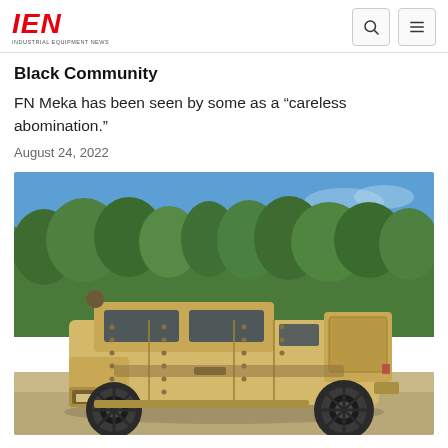IEN INDUSTRIAL EQUIPMENT NEWS
Black Community
FN Meka has been seen by some as a “careless abomination.”
August 24, 2022
[Figure (photo): Side profile photo of a tan/beige military tactical vehicle (resembling a JLTV or similar armored truck) parked on a gravel surface with green trees and blue sky in the background.]